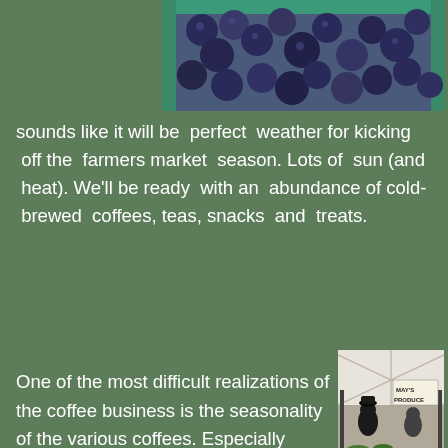[Figure (photo): Close-up of blueberries in green containers at a market]
sounds like it will be  perfect  weather for kicking  off the  farmers market  season. Lots of  sun (and  heat). We'll be ready  with an  abundance of cold-  brewed  coffees, teas, snacks  and  treats.
[Figure (photo): Farmers market stall with two vendors arranging fresh produce including tomatoes and other vegetables, with a sign reading 'MAY'S PRODUCE']
One of the most difficult realizations of the coffee business is the seasonality of the various coffees. Especially when we find those that are incredibly special